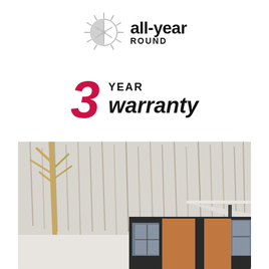[Figure (logo): All-year round logo with sun/snowflake icon and bold text 'all-year ROUND']
[Figure (infographic): 3 YEAR warranty badge with large red italic '3' and black bold text 'YEAR warranty']
[Figure (photo): Winter scene photo showing snow-covered trees and a modern cabin/container home with dark exterior and wood cladding accents, floor-to-ceiling windows]